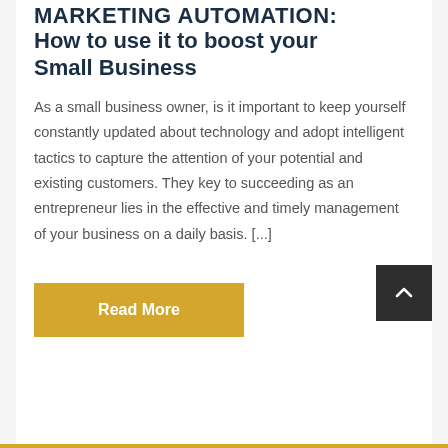MARKETING AUTOMATION: How to use it to boost your Small Business
As a small business owner, is it important to keep yourself constantly updated about technology and adopt intelligent tactics to capture the attention of your potential and existing customers. They key to succeeding as an entrepreneur lies in the effective and timely management of your business on a daily basis. [...]
[Figure (other): Gold/yellow 'Read More' button and a dark gray back-to-top arrow button]